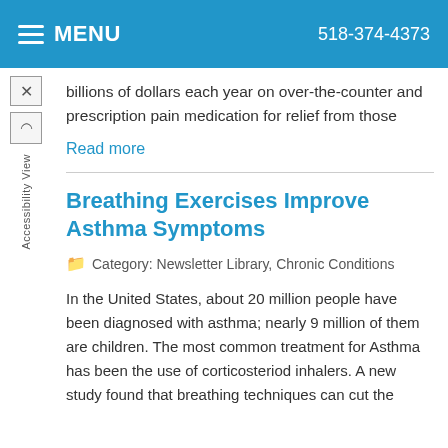MENU  518-374-4373
billions of dollars each year on over-the-counter and prescription pain medication for relief from those
Read more
Breathing Exercises Improve Asthma Symptoms
Category: Newsletter Library, Chronic Conditions
In the United States, about 20 million people have been diagnosed with asthma; nearly 9 million of them are children. The most common treatment for Asthma has been the use of corticosteriod inhalers. A new study found that breathing techniques can cut the